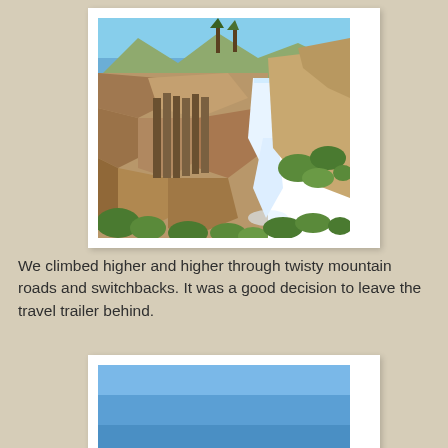[Figure (photo): A waterfall cascading down rocky cliffs with green shrubs and trees visible against a blue sky in a rugged mountain canyon setting.]
We climbed higher and higher through twisty mountain roads and switchbacks. It was a good decision to leave the travel trailer behind.
[Figure (photo): A blue sky, partially visible at the bottom of the page.]